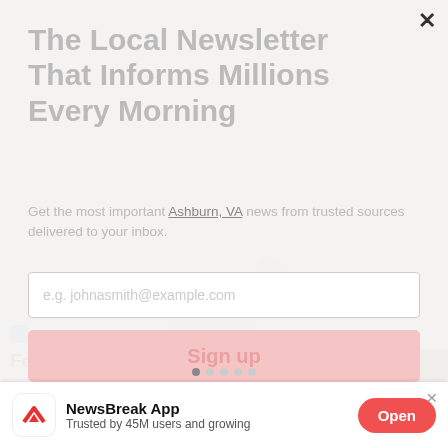The Local Newsletter That Informs Millions Every Morning
Get the most important Ashburn, VA news from trusted sources delivered to your inbox.
e.g. johnasmith@example.com
Sign up
[Figure (illustration): Decorative mailbox/envelope graphic illustration in light gray]
The Daily Gazette
For second straight da...
NewsBreak App
Trusted by 45M users and growing
Open